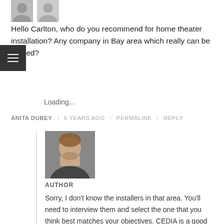[Figure (photo): Two partially visible user avatar silhouettes at top]
Hello Carlton, who do you recommend for home theater installation? Any company in Bay area which really can be trusted?
Loading...
ANITA DUBEY | 6 YEARS AGO | PERMALINK | REPLY
[Figure (photo): Author headshot photo of a man with beard and suit]
AUTHOR
Sorry, I don't know the installers in that area. You'll need to interview them and select the one that you think best matches your objectives. CEDIA is a good place to start to find well trained dealer and installers.
Loading...
CARLTON BALE | 6 YEARS AGO | PERMALINK |
REPLY